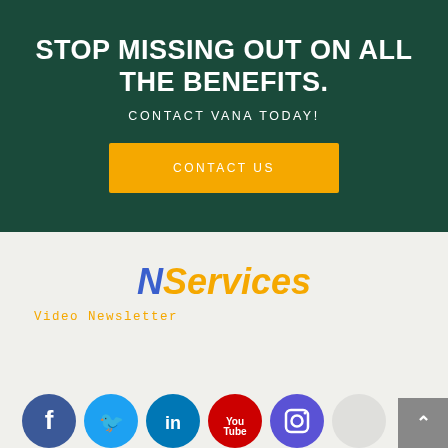STOP MISSING OUT ON ALL THE BENEFITS.
CONTACT VANA TODAY!
CONTACT US
[Figure (logo): NServices logo with N in blue italic bold and Services in orange italic bold]
Video Newsletter
[Figure (infographic): Social media icons row: Facebook (blue), Twitter (blue), LinkedIn (teal), YouTube (red), Instagram (purple-blue), and a partial light gray circle]